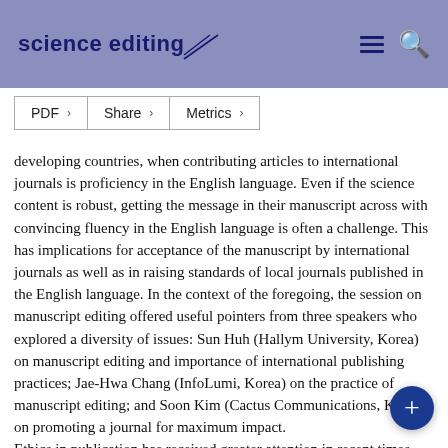science editing
PDF  Share  Metrics
developing countries, when contributing articles to international journals is proficiency in the English language. Even if the science content is robust, getting the message in their manuscript across with convincing fluency in the English language is often a challenge. This has implications for acceptance of the manuscript by international journals as well as in raising standards of local journals published in the English language. In the context of the foregoing, the session on manuscript editing offered useful pointers from three speakers who explored a diversity of issues: Sun Huh (Hallym University, Korea) on manuscript editing and importance of international publishing practices; Jae-Hwa Chang (InfoLumi, Korea) on the practice of manuscript editing; and Soon Kim (Cactus Communications, Korea) on promoting a journal for maximum impact.
Ethics in publication has received greater attention in recent times, not surprisingly owing to the pressure for academics to publish. Work reported in manuscripts must be in consonance with established ethical guidelines. Four presentations in the session on publication